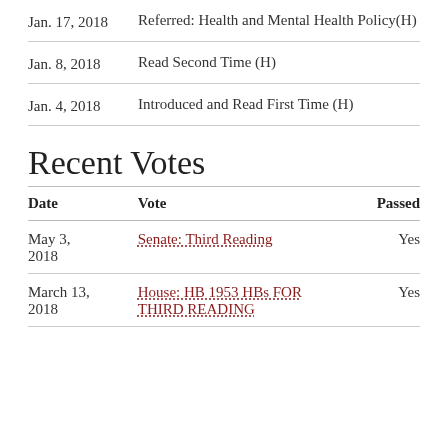| Date | Action |
| --- | --- |
| Jan. 17, 2018 | Referred: Health and Mental Health Policy(H) |
| Jan. 8, 2018 | Read Second Time (H) |
| Jan. 4, 2018 | Introduced and Read First Time (H) |
Recent Votes
| Date | Vote | Passed |
| --- | --- | --- |
| May 3, 2018 | Senate: Third Reading | Yes |
| March 13, 2018 | House: HB 1953 HBs FOR THIRD READING | Yes |